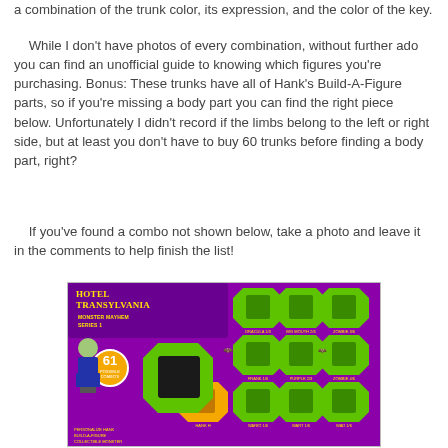a combination of the trunk color, its expression, and the color of the key.
While I don't have photos of every combination, without further ado you can find an unofficial guide to knowing which figures you're purchasing. Bonus: These trunks have all of Hank's Build-A-Figure parts, so if you're missing a body part you can find the right piece below. Unfortunately I didn't record if the limbs belong to the left or right side, but at least you don't have to buy 60 trunks before finding a body part, right?
If you've found a combo not shown below, take a photo and leave it in the comments to help finish the list!
[Figure (photo): Hotel Transylvania Monster Mayhem Series 1 blind bag figure guide showing 61 possible combinations with character figures arranged on a green starburst background. Left side shows a Frankenstein-type character. Top and right sections show multiple small character figures in green pentagon shapes. Bottom row shows additional character options.]